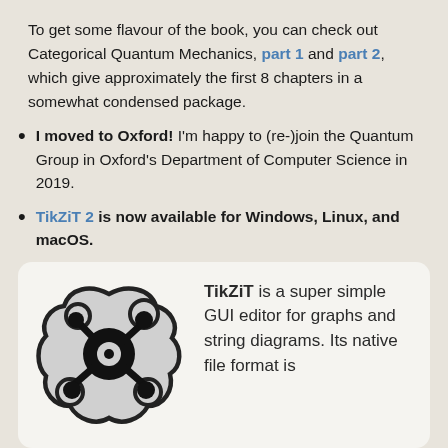To get some flavour of the book, you can check out Categorical Quantum Mechanics, part 1 and part 2, which give approximately the first 8 chapters in a somewhat condensed package.
I moved to Oxford! I'm happy to (re-)join the Quantum Group in Oxford's Department of Computer Science in 2019.
TikZiT 2 is now available for Windows, Linux, and macOS.
[Figure (logo): TikZiT logo: a blob-shaped grey icon with black circular nodes connected by edges, resembling a graph diagram]
TikZiT is a super simple GUI editor for graphs and string diagrams. Its native file format is